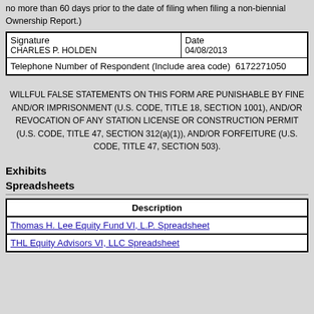no more than 60 days prior to the date of filing when filing a non-biennial Ownership Report.)
| Signature | Date |
| --- | --- |
| CHARLES P. HOLDEN | 04/08/2013 |
| Telephone Number of Respondent (Include area code)  6172271050 |  |
WILLFUL FALSE STATEMENTS ON THIS FORM ARE PUNISHABLE BY FINE AND/OR IMPRISONMENT (U.S. CODE, TITLE 18, SECTION 1001), AND/OR REVOCATION OF ANY STATION LICENSE OR CONSTRUCTION PERMIT (U.S. CODE, TITLE 47, SECTION 312(a)(1)), AND/OR FORFEITURE (U.S. CODE, TITLE 47, SECTION 503).
Exhibits
Spreadsheets
| Description |
| --- |
| Thomas H. Lee Equity Fund VI, L.P. Spreadsheet |
| THL Equity Advisors VI, LLC Spreadsheet |